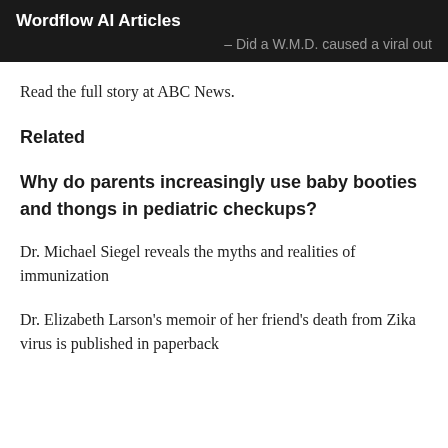Wordflow AI Articles – Did a W.M.D. caused a viral out
Read the full story at ABC News.
Related
Why do parents increasingly use baby booties and thongs in pediatric checkups?
Dr. Michael Siegel reveals the myths and realities of immunization
Dr. Elizabeth Larson's memoir of her friend's death from Zika virus is published in paperback